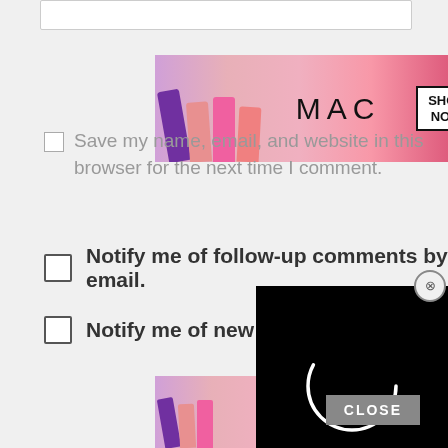[Figure (screenshot): Top input form field, partially visible]
[Figure (screenshot): MAC cosmetics lipstick advertisement banner with 'SHOP NOW' button, top position]
Save my name, email, and website in this browser for the next time I comment.
Notify me of follow-up comments by email.
Notify me of new posts by email.
[Figure (screenshot): Video player overlay with black background and loading spinner circle, with X close button]
This site uses Akismet to reduce spam. Learn how your comment data is processed.
[Figure (screenshot): CLOSE button bar]
[Figure (screenshot): MAC cosmetics lipstick advertisement banner with 'SHOP NOW' button, bottom position]
[Figure (screenshot): Scroll to top button]